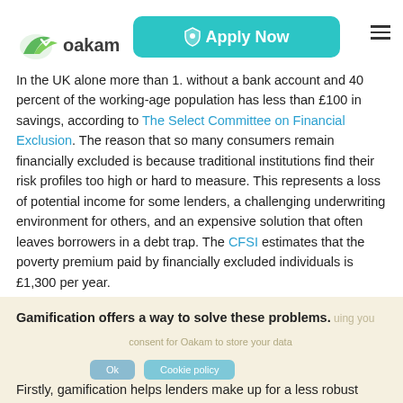[Figure (logo): Oakam logo in green with stylized bird/checkmark graphic]
In the UK alone more than 1. without a bank account and 40 percent of the working-age population has less than £100 in savings, according to The Select Committee on Financial Exclusion. The reason that so many consumers remain financially excluded is because traditional institutions find their risk profiles too high or hard to measure. This represents a loss of potential income for some lenders, a challenging underwriting environment for others, and an expensive solution that often leaves borrowers in a debt trap. The CFSI estimates that the poverty premium paid by financially excluded individuals is £1,300 per year.
Gamification offers a way to solve these problems.
Firstly, gamification helps lenders make up for a less robust upfront risk assessment when dealing with borrowers that